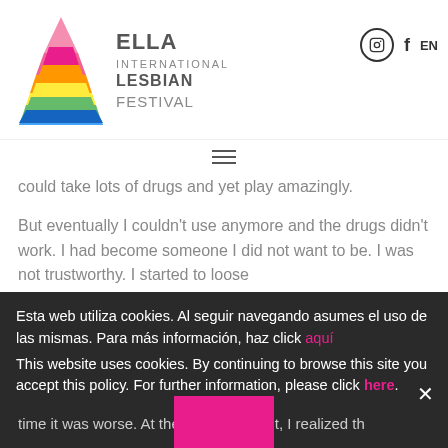[Figure (logo): ELLA International Lesbian Festival logo with colorful triangle/pyramid and text]
could take lots of drugs and yet play amazingly.
But eventually I couldn't use anymore and the drugs didn't work. I had become someone I did not want to be. I was not trustworthy. I started to loose
Esta web utiliza cookies. Al seguir navegando asumes el uso de las mismas. Para más información, haz click aquí
This website uses cookies. By continuing to browse this site you accept this policy. For further information, please click here.
unfortunately. I had to run on my own. I started again and this time it was worse. At the same moment, I realized th... not be able to survive unless I ask for help.... for help and ended up